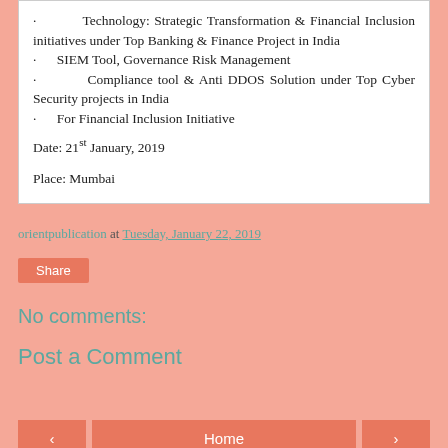· Technology: Strategic Transformation & Financial Inclusion initiatives under Top Banking & Finance Project in India
· SIEM Tool, Governance Risk Management
· Compliance tool & Anti DDOS Solution under Top Cyber Security projects in India
· For Financial Inclusion Initiative
Date: 21st January, 2019
Place: Mumbai
orientpublication at Tuesday, January 22, 2019
Share
No comments:
Post a Comment
‹  Home  ›  View web version  Powered by Blogger